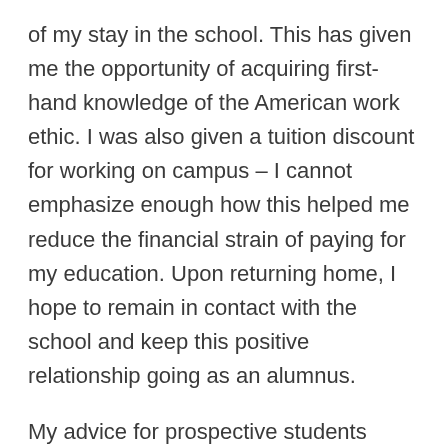of my stay in the school. This has given me the opportunity of acquiring first-hand knowledge of the American work ethic. I was also given a tuition discount for working on campus – I cannot emphasize enough how this helped me reduce the financial strain of paying for my education. Upon returning home, I hope to remain in contact with the school and keep this positive relationship going as an alumnus.
My advice for prospective students would be to come prepared with your academic and professional goals and to focus on your academic plan. There are student advisors, counselors, and department chairs who are ready and available